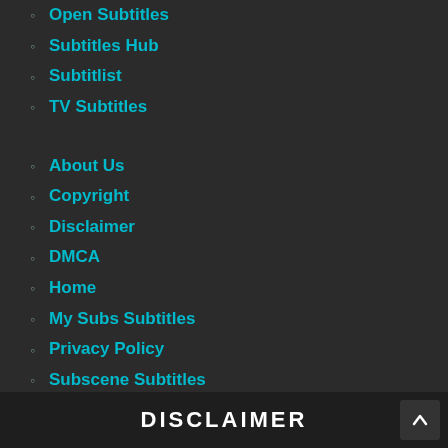Open Subtitles
Subtitles Hub
Subtitlist
TV Subtitles
About Us
Copyright
Disclaimer
DMCA
Home
My Subs Subtitles
Privacy Policy
Subscene Subtitles
Subtitle Seeker
Terms of Services
TV Subtitles
YIFY Subtitles
YTS Subtitles
DISCLAIMER